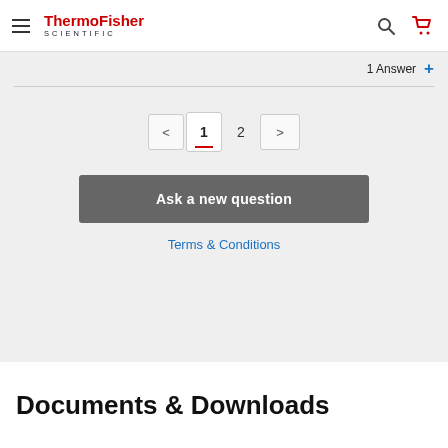[Figure (screenshot): ThermoFisher Scientific website navigation bar with hamburger menu, logo, search icon, and cart icon]
1 Answer +
1  2
Ask a new question
Terms & Conditions
Documents & Downloads